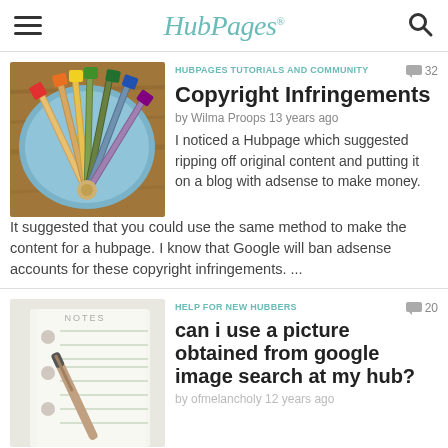HubPages
[Figure (photo): Colored pencils arranged in a circular fan shape on a blue plate, viewed from above on a wooden surface]
HUBPAGES TUTORIALS AND COMMUNITY
Copyright Infringements
by Wilma Proops 13 years ago
I noticed a Hubpage which suggested ripping off original content and putting it on a blog with adsense to make money.  It suggested that you could use the same method to make the content for a hubpage.  I know that Google will ban adsense accounts for these copyright infringements. ...
[Figure (photo): A notebook with NOTES written on it and a pen, on a light background]
HELP FOR NEW HUBBERS
can i use a picture obtained from google image search at my hub?
by ofmelancholy 12 years ago